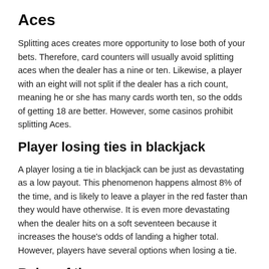Aces
Splitting aces creates more opportunity to lose both of your bets. Therefore, card counters will usually avoid splitting aces when the dealer has a nine or ten. Likewise, a player with an eight will not split if the dealer has a rich count, meaning he or she has many cards worth ten, so the odds of getting 18 are better. However, some casinos prohibit splitting Aces.
Player losing ties in blackjack
A player losing a tie in blackjack can be just as devastating as a low payout. This phenomenon happens almost 8% of the time, and is likely to leave a player in the red faster than they would have otherwise. It is even more devastating when the dealer hits on a soft seventeen because it increases the house's odds of landing a higher total. However, players have several options when losing a tie.
Rules of the game